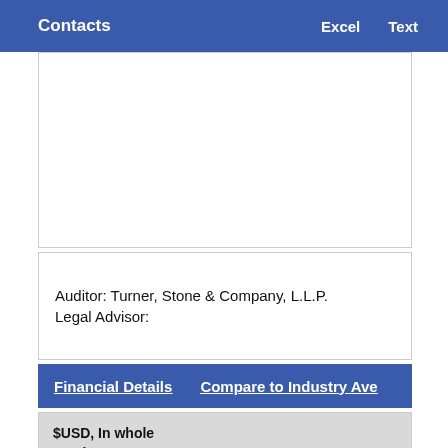Contacts   Excel   Text
Auditor: Turner, Stone & Company, L.L.P.
Legal Advisor:
Financial Details   Compare to Industry Ave
| $USD, In whole numbers, except marked * or % |  |
|  |  |